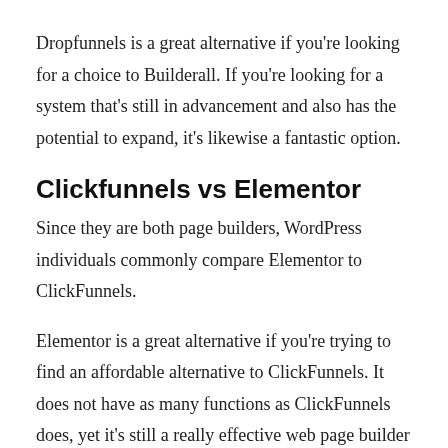Dropfunnels is a great alternative if you're looking for a choice to Builderall. If you're looking for a system that's still in advancement and also has the potential to expand, it's likewise a fantastic option.
Clickfunnels vs Elementor
Since they are both page builders, WordPress individuals commonly compare Elementor to ClickFunnels.
Elementor is a great alternative if you're trying to find an affordable alternative to ClickFunnels. It does not have as many functions as ClickFunnels does, yet it's still a really effective web page builder for WordPress